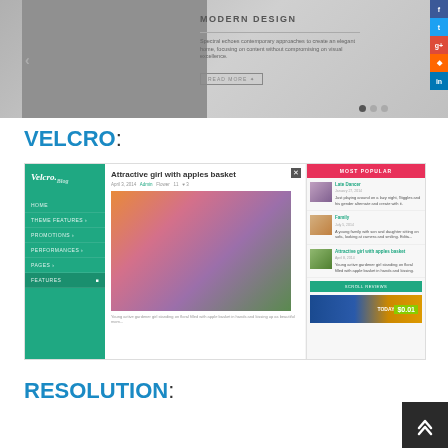[Figure (screenshot): Website screenshot showing a modern design theme with a black-and-white photo of a woman with umbrella, 'MODERN DESIGN' heading, descriptive text, READ MORE button, social media sidebar buttons (Facebook, Twitter, Google+, RSS, LinkedIn), and carousel dots]
VELCRO:
[Figure (screenshot): Screenshot of Velcro blog theme showing green sidebar navigation, main article 'Attractive girl with apples basket' with photo of woman in hat holding apples in a flower field, and right sidebar with MOST POPULAR posts (Late Dancer, Family, Attractive girl with apples basket) and a SCROLL REVIEWS button]
RESOLUTION: